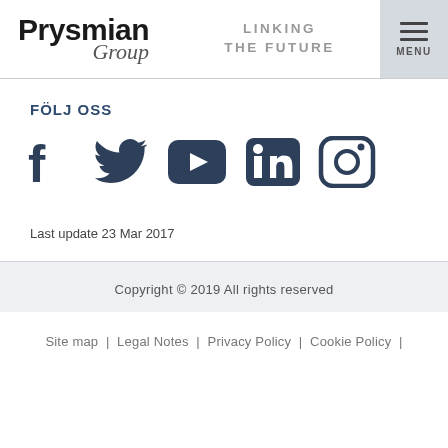Prysmian Group — LINKING THE FUTURE — MENU
FÖLJ OSS
[Figure (illustration): Row of five social media icons: Facebook, Twitter, YouTube, LinkedIn, Instagram in dark navy color]
Last update 23 Mar 2017
Copyright © 2019 All rights reserved
Site map | Legal Notes | Privacy Policy | Cookie Policy |